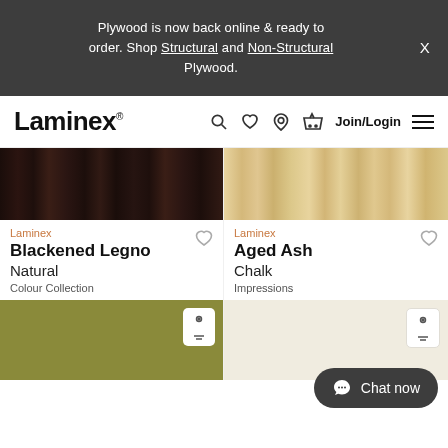Plywood is now back online & ready to order. Shop Structural and Non-Structural Plywood.
[Figure (screenshot): Laminex website navigation bar with logo, search, wishlist, location, basket icons, Join/Login link and hamburger menu]
[Figure (photo): Dark wood grain texture for Blackened Legno product]
Laminex
Blackened Legno
Natural
Colour Collection
[Figure (photo): Light wood grain texture for Aged Ash product]
Laminex
Aged Ash
Chalk
Impressions
[Figure (photo): Olive/khaki coloured laminate swatch]
[Figure (photo): Beige/off-white coloured laminate swatch]